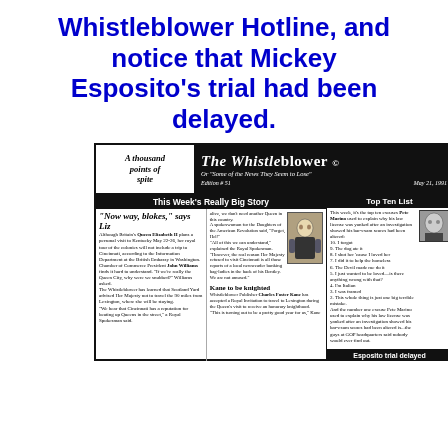Whistleblower Hotline, and notice that Mickey Esposito's trial had been delayed.
[Figure (illustration): Cropped image of The Whistleblower newspaper, Edition #51, May 21, 1991. Features headline 'Now way, blokes, says Liz', Top Ten List about Pete Marino, and 'Esposito trial delayed' section. Banner reads 'A thousand points of spite'.]